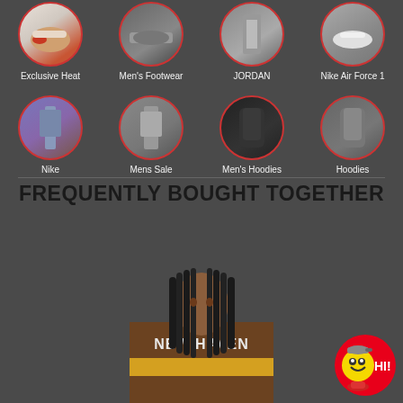[Figure (screenshot): E-commerce page showing category navigation circles with product images and labels: Exclusive Heat, Men's Footwear, JORDAN, Nike Air Force 1 in top row; Nike, Mens Sale, Men's Hoodies, Hoodies in second row.]
FREQUENTLY BOUGHT TOGETHER
[Figure (photo): Man wearing a brown New Haven jersey/sweatshirt with yellow stripe, with long dreadlocks, shown from waist up against dark background. A HI! mascot logo appears in bottom right corner.]